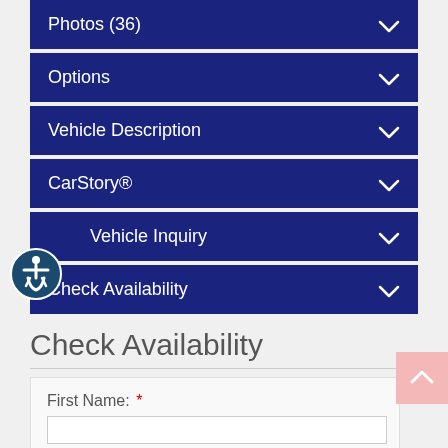Photos (36)
Options
Vehicle Description
CarStory®
Vehicle Inquiry
Check Availability
Check Availability
First Name: *